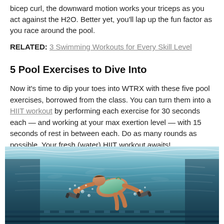bicep curl, the downward motion works your triceps as you act against the H2O. Better yet, you'll lap up the fun factor as you race around the pool.
RELATED: 3 Swimming Workouts for Every Skill Level
5 Pool Exercises to Dive Into
Now it's time to dip your toes into WTRX with these five pool exercises, borrowed from the class. You can turn them into a HIIT workout by performing each exercise for 30 seconds each — and working at your max exertion level — with 15 seconds of rest in between each. Do as many rounds as possible. Your fresh (water) HIIT workout awaits!
[Figure (photo): Underwater photo of a person swimming in a pool, holding what appear to be water dumbbells, wearing a green swimsuit. The photo shows an underwater perspective with water surface visible at top, lane lines at bottom, and bubbles around the swimmer.]